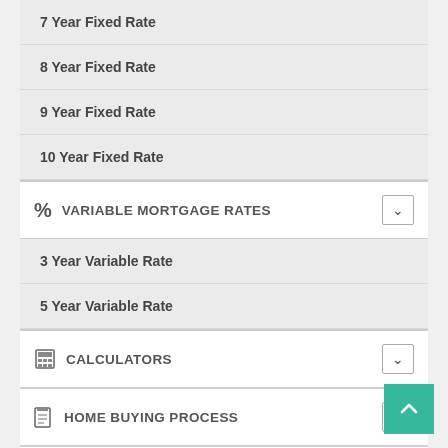7 Year Fixed Rate
8 Year Fixed Rate
9 Year Fixed Rate
10 Year Fixed Rate
VARIABLE MORTGAGE RATES
3 Year Variable Rate
5 Year Variable Rate
CALCULATORS
HOME BUYING PROCESS
RENEWING MORTGAGE
REFINANCING GUIDE